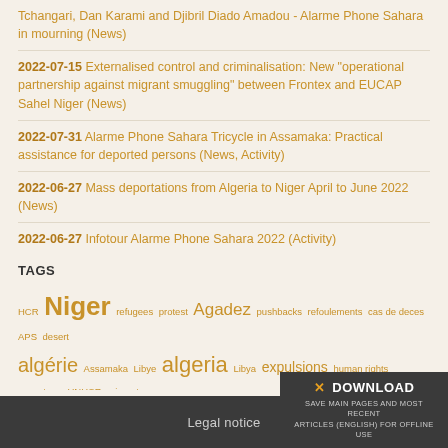Tchangari, Dan Karami and Djibril Diado Amadou - Alarme Phone Sahara in mourning (News)
2022-07-15 Externalised control and criminalisation: New "operational partnership against migrant smuggling" between Frontex and EUCAP Sahel Niger (News)
2022-07-31 Alarme Phone Sahara Tricycle in Assamaka: Practical assistance for deported persons (News, Activity)
2022-06-27 Mass deportations from Algeria to Niger April to June 2022 (News)
2022-06-27 Infotour Alarme Phone Sahara 2022 (Activity)
TAGS
HCR Niger refugees protest Agadez pushbacks refoulements cas de deces APS desert algérie Assamaka Libye algeria Libya expulsions human rights sauvetage UNHCR migrant-e-s pushback proteste deportations migrant.e.s migrants expulsion deportation refugie-e-s Migration refoulement
Legal notice
✕ DOWNLOAD SAVE MAIN PAGES AND MOST RECENT ARTICLES (ENGLISH) FOR OFFLINE USE